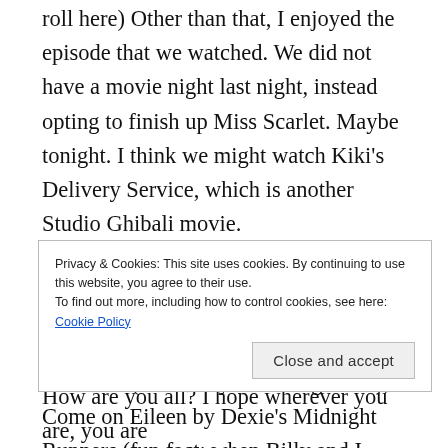roll here) Other than that, I enjoyed the episode that we watched. We did not have a movie night last night, instead opting to finish up Miss Scarlet. Maybe tonight. I think we might watch Kiki's Delivery Service, which is another Studio Ghibali movie.
As for our wake up songs, it was my turn last week to pick! I chose 9 to 5 by Dolly Parton, Into the Mystic by Van Morrison (one of my fave songs ever), Come on Eileen by Dexie's Midnight Runners (fun fact: when Billy and I were in our 20s we always said we would
Privacy & Cookies: This site uses cookies. By continuing to use this website, you agree to their use.
To find out more, including how to control cookies, see here: Cookie Policy
Close and accept
How are you all? I hope wherever you are, you are